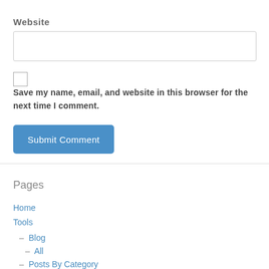Website
Save my name, email, and website in this browser for the next time I comment.
Submit Comment
Pages
Home
Tools
– Blog
– All
– Posts By Category